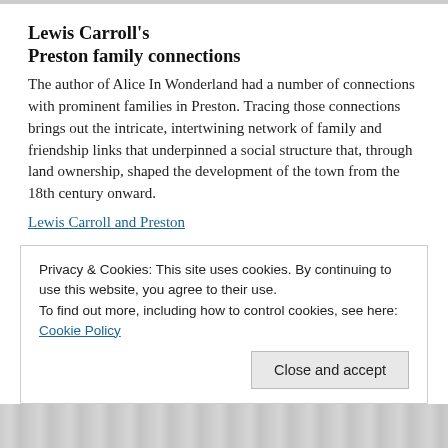Lewis Carroll's Preston family connections
The author of Alice In Wonderland had a number of connections with prominent families in Preston. Tracing those connections brings out the intricate, intertwining network of family and friendship links that underpinned a social structure that, through land ownership, shaped the development of the town from the 18th century onward.
Lewis Carroll and Preston
Privacy & Cookies: This site uses cookies. By continuing to use this website, you agree to their use.
To find out more, including how to control cookies, see here: Cookie Policy
[Figure (illustration): Illustrated image at the bottom of the page, partially visible, appears to be a historical or decorative illustration]